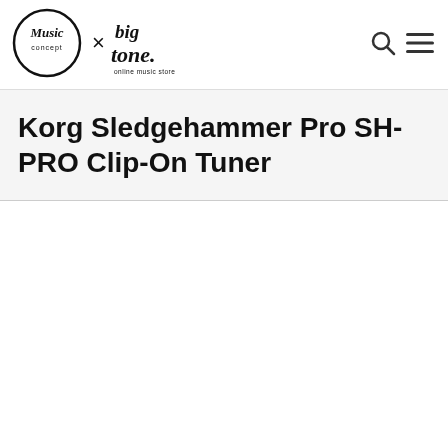[Figure (logo): Music Concept x Big Tone online music store logo — two logos side by side with an 'x' between them]
[Figure (other): Search icon (magnifying glass)]
[Figure (other): Hamburger menu icon (three horizontal lines)]
Korg Sledgehammer Pro SH-PRO Clip-On Tuner